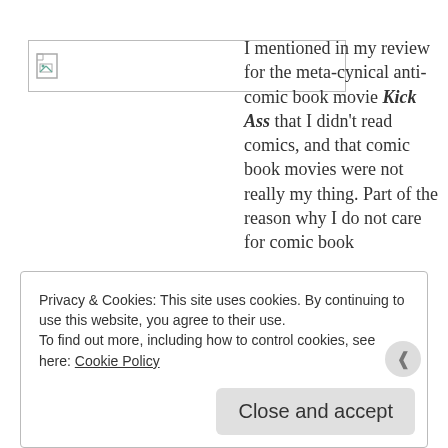[Figure (illustration): Broken image placeholder icon with a small document/image icon in the top-left corner of a bordered rectangle]
I mentioned in my review for the meta-cynical anti-comic book movie Kick Ass that I didn't read comics, and that comic book movies were not really my thing. Part of the reason why I do not care for comic book
Privacy & Cookies: This site uses cookies. By continuing to use this website, you agree to their use.
To find out more, including how to control cookies, see here: Cookie Policy
Close and accept